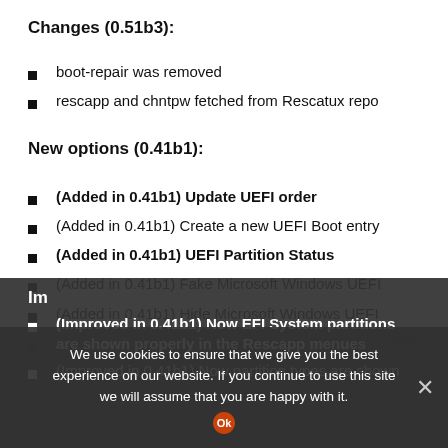Changes (0.51b3):
boot-repair was removed
rescapp and chntpw fetched from Rescatux repo
New options (0.41b1):
(Added in 0.41b1) Update UEFI order
(Added in 0.41b1) Create a new UEFI Boot entry
(Added in 0.41b1) UEFI Partition Status
(Added in 0.41b1) Fake Microsoft Windows UEFI
(Added in 0.41b1) Hide Microsoft Windows UEFI
(Added in 0.41b1) Reinstall Microsoft Windows EFI
(Added in 0.41b1) Check UEFI Boot
(Improved in 0.41b1) Now EFI System partitions are shown properly in the Rescapp menues
(Improved in 0.41b1) Now partition types are shown